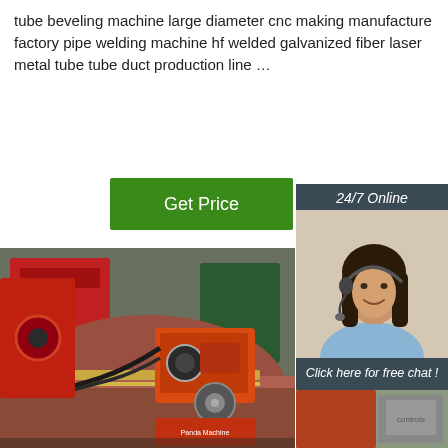tube beveling machine large diameter cnc making manufacture factory pipe welding machine hf welded galvanized fiber laser metal tube tube duct production line …
[Figure (other): Green 'Get Price' button]
[Figure (other): Sidebar with '24/7 Online' header, customer service representative photo with headset, 'Click here for free chat!' text, and orange QUOTATION button on dark teal background]
[Figure (photo): Industrial tube beveling / pipe welding machine — large red CNC machine working on a large diameter pipe in a factory setting. An orange machine head with welding spool is visible on the pipe.]